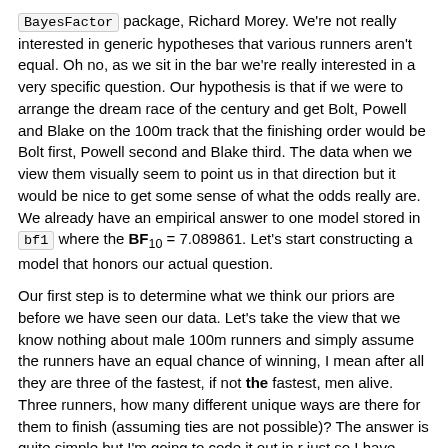BayesFactor package, Richard Morey. We're not really interested in generic hypotheses that various runners aren't equal. Oh no, as we sit in the bar we're really interested in a very specific question. Our hypothesis is that if we were to arrange the dream race of the century and get Bolt, Powell and Blake on the 100m track that the finishing order would be Bolt first, Powell second and Blake third. The data when we view them visually seem to point us in that direction but it would be nice to get some sense of what the odds really are. We already have an empirical answer to one model stored in bf1 where the BF10 = 7.089861. Let's start constructing a model that honors our actual question.
Our first step is to determine what we think our priors are before we have seen our data. Let's take the view that we know nothing about male 100m runners and simply assume the runners have an equal chance of winning, I mean after all they are three of the fastest, if not the fastest, men alive. Three runners, how many different unique ways are there for them to finish (assuming ties are not possible)? The answer is quite simple but I'm going to code it out in r just so I have code for a future more complicated case. The gtools::permutations function allows us to map out all the possible unique finishing orders for our 3 runners. There are 6. Of the 6 orders, #3 is the one where the winning order of the three contested...